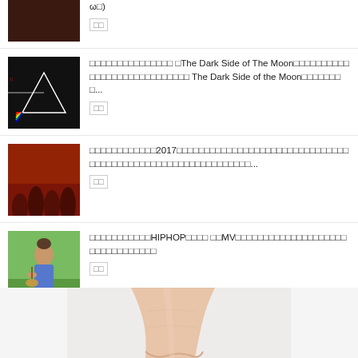ω□)
□□
[Figure (photo): Thumbnail - dark red/brown image (partial, cut off at top)]
□□□□□□□□□□□□□□□ □The Dark Side of The Moon□□□□□□□□□□□□□□□□□□□□□□□□□□□□ The Dark Side of the Moon□□□□□□□□...
□□
[Figure (photo): Thumbnail - Pink Floyd The Dark Side of the Moon album cover style image]
□□□□□□□□□□□□2017□□□□□□□□□□□□□□□□□□□□□□□□□□□□□□□□□□□□□□□□□□□□□□□□□□□□□□□□□□□□...
□□
[Figure (photo): Thumbnail - concert crowd image with red tones]
□□□□□□□□□□□HIPHOP□□□□ □□MV□□□□□□□□□□□□□□□□□□□□□□□□□□□□□□□□
□□
[Figure (photo): Thumbnail - young woman sitting on grass with ukulele]
[Figure (photo): Large image at bottom - arm/hand close-up on light background]